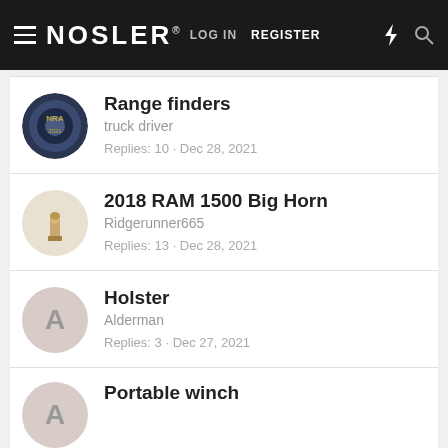NOSLER® LOG IN REGISTER
Range finders | truck driver | Replies: 10 · Dec 28, 2021
2018 RAM 1500 Big Horn | Ridgerunner665 | Replies: 13 · Dec 28, 2021
Holster | Alderman | Replies: 3 · Dec 27, 2021
Portable winch